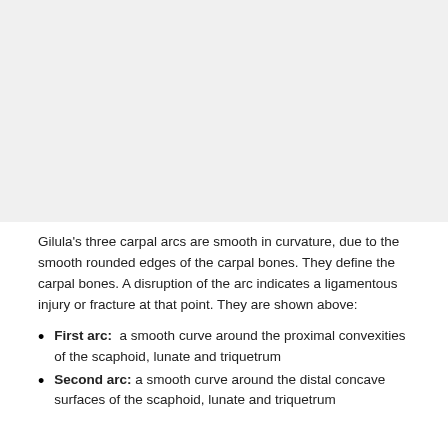[Figure (photo): Medical image placeholder — upper portion of the page showing Gilula's three carpal arcs diagram or radiograph]
Gilula's three carpal arcs are smooth in curvature, due to the smooth rounded edges of the carpal bones. They define the carpal bones. A disruption of the arc indicates a ligamentous injury or fracture at that point. They are shown above:
First arc:  a smooth curve around the proximal convexities of the scaphoid, lunate and triquetrum
Second arc: a smooth curve around the distal concave surfaces of the scaphoid, lunate and triquetrum